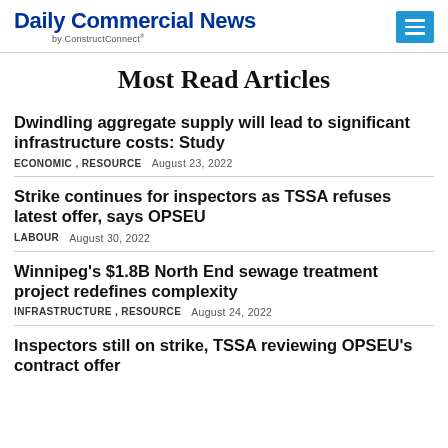Daily Commercial News by ConstructConnect
Most Read Articles
Dwindling aggregate supply will lead to significant infrastructure costs: Study
ECONOMIC , RESOURCE   August 23, 2022
Strike continues for inspectors as TSSA refuses latest offer, says OPSEU
LABOUR   August 30, 2022
Winnipeg's $1.8B North End sewage treatment project redefines complexity
INFRASTRUCTURE , RESOURCE   August 24, 2022
Inspectors still on strike, TSSA reviewing OPSEU's contract offer